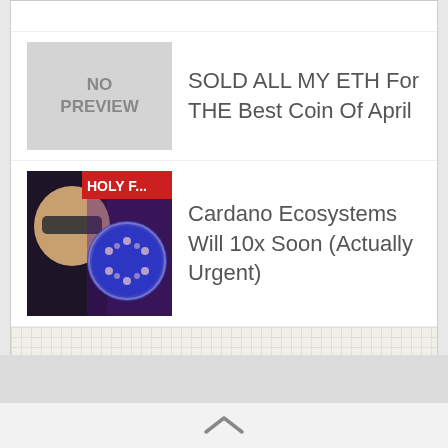[Figure (screenshot): List item with NO PREVIEW placeholder thumbnail]
SOLD ALL MY ETH For THE Best Coin Of April
[Figure (photo): Cardano logo thumbnail with person wearing sunglasses and text HOLY F...]
Cardano Ecosystems Will 10x Soon (Actually Urgent)
[Figure (screenshot): Informatica Online Training by Edureka advertisement banner]
Informatica Online Training by Edureka